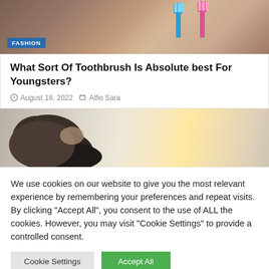[Figure (photo): Top portion of article card showing toothbrushes on a wooden background with a blue FASHION badge]
What Sort Of Toothbrush Is Absolute best For Youngsters?
August 18, 2022  Alfio Sara
[Figure (photo): Photo of a person lying down in a soft-lit room]
We use cookies on our website to give you the most relevant experience by remembering your preferences and repeat visits. By clicking "Accept All", you consent to the use of ALL the cookies. However, you may visit "Cookie Settings" to provide a controlled consent.